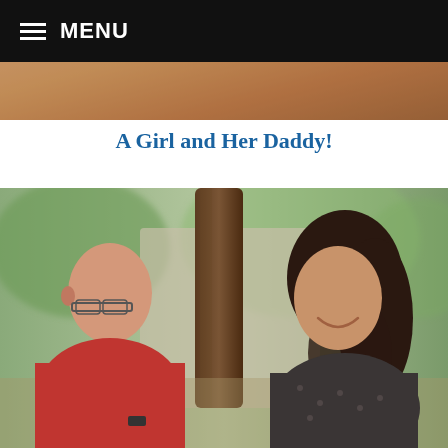MENU
[Figure (photo): Top partial crop of a photo showing blurred warm-toned background, partially cut off by the navigation bar]
A Girl and Her Daddy!
[Figure (photo): Photo of an older man with glasses wearing a red shirt sitting facing a younger woman with dark hair and a patterned top, both smiling, inside what appears to be a vehicle or golf cart, blurred green foliage in background]